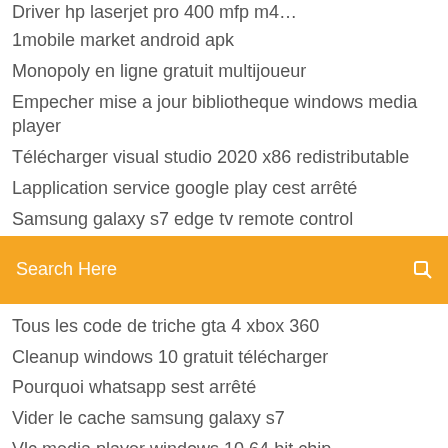1mobile market android apk
Monopoly en ligne gratuit multijoueur
Empecher mise a jour bibliotheque windows media player
Télécharger visual studio 2020 x86 redistributable
Lapplication service google play cest arrêté
Samsung galaxy s7 edge tv remote control
[Figure (screenshot): Orange search bar with text 'Search Here' and a search icon on the right]
Tous les code de triche gta 4 xbox 360
Cleanup windows 10 gratuit télécharger
Pourquoi whatsapp sest arrêté
Vider le cache samsung galaxy s7
Vlc media player windows 10 64 bit chip
How do i test my webcam windows 7
Telecharger euro truck simulator 2 bus
Convertir une image en doc word
Logiciel bureautique gratuit pour ipad
Descargar izotope ozone 5 gratis